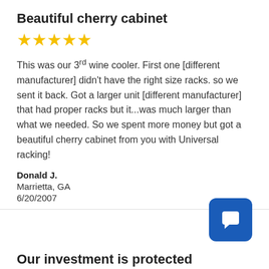Beautiful cherry cabinet
[Figure (other): 5 filled gold stars rating]
This was our 3rd wine cooler. First one [different manufacturer] didn't have the right size racks. so we sent it back. Got a larger unit [different manufacturer] that had proper racks but it...was much larger than what we needed. So we spent more money but got a beautiful cherry cabinet from you with Universal racking!
Donald J.
Marrietta, GA
6/20/2007
[Figure (other): Blue chat button icon]
Our investment is protected
[Figure (other): 4 filled gold stars and 1 empty star rating]